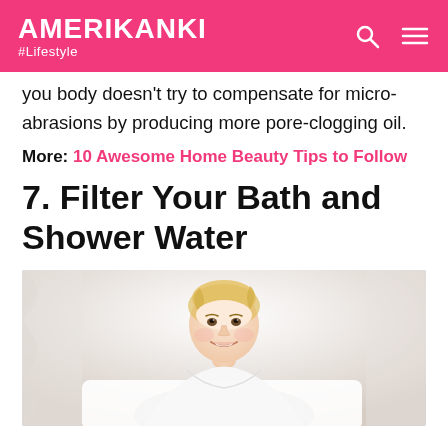AMERIKANKI #Lifestyle
you body doesn't try to compensate for micro-abrasions by producing more pore-clogging oil.
More: 10 Awesome Home Beauty Tips to Follow
7. Filter Your Bath and Shower Water
[Figure (photo): Smiling blonde woman in a bathrobe leaning forward in a bright, light-filled bathroom setting]